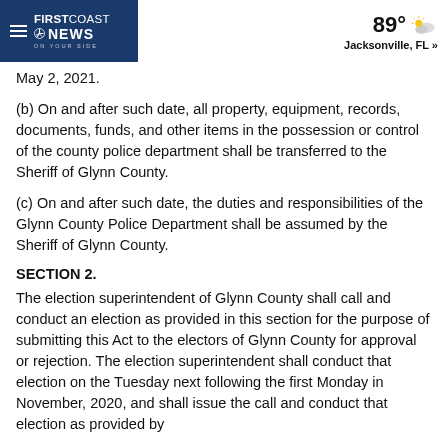FIRSTCOAST NEWS ON YOUR SIDE — 89° Jacksonville, FL »
May 2, 2021.
(b) On and after such date, all property, equipment, records, documents, funds, and other items in the possession or control of the county police department shall be transferred to the Sheriff of Glynn County.
(c) On and after such date, the duties and responsibilities of the Glynn County Police Department shall be assumed by the Sheriff of Glynn County.
SECTION 2.
The election superintendent of Glynn County shall call and conduct an election as provided in this section for the purpose of submitting this Act to the electors of Glynn County for approval or rejection. The election superintendent shall conduct that election on the Tuesday next following the first Monday in November, 2020, and shall issue the call and conduct that election as provided by